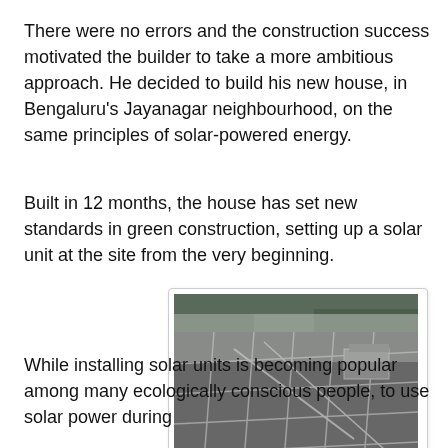There were no errors and the construction success motivated the builder to take a more ambitious approach. He decided to build his new house, in Bengaluru’s Jayanagar neighbourhood, on the same principles of solar-powered energy.
Built in 12 months, the house has set new standards in green construction, setting up a solar unit at the site from the very beginning.
[Figure (photo): Aerial or close-up view of solar panels on a rooftop, showing a grid of dark grey photovoltaic panels with white dividing lines, with trees visible in the background.]
While installing solar units is becoming popular among many ecologically conscious people, to use solar power during construction is a novel idea. Built in a whole new